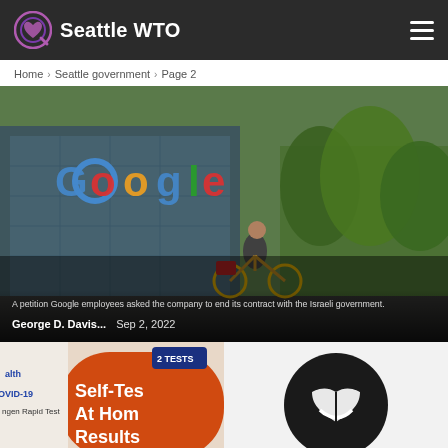Seattle WTO
Home > Seattle government > Page 2
[Figure (photo): Person riding a bicycle past a Google office building with the Google logo visible on the facade, trees in background. Overlay text: 'A petition Google employees asked the company to end its contract with the Israeli government.' Author: George D. Davis... Date: Sep 2, 2022]
[Figure (photo): Close-up of a COVID-19 antigen rapid test box with text 'Self-Test At Home Results' in orange on white packaging, and partial health branding visible.]
[Figure (logo): Black circular logo with white stylized design, possibly a news or media outlet mark.]